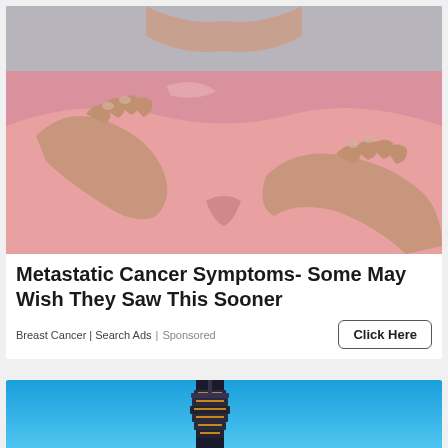[Figure (photo): Woman in pink top performing breast self-examination, hands on chest, gray background — medical/health advertisement image]
Metastatic Cancer Symptoms- Some May Wish They Saw This Sooner
Breast Cancer | Search Ads | Sponsored
Click Here
[Figure (photo): Partial view of a tall illuminated skyscraper (Taipei 101 style) against a bright blue sky — bottom advertisement image]